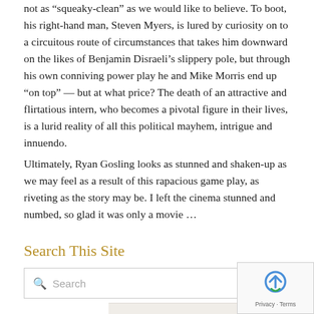not as “squeaky-clean” as we would like to believe. To boot, his right-hand man, Steven Myers, is lured by curiosity on to a circuitous route of circumstances that takes him downward on the likes of Benjamin Disraeli’s slippery pole, but through his own conniving power play he and Mike Morris end up “on top” — but at what price? The death of an attractive and flirtatious intern, who becomes a pivotal figure in their lives, is a lurid reality of all this political mayhem, intrigue and innuendo.
Ultimately, Ryan Gosling looks as stunned and shaken-up as we may feel as a result of this rapacious game play, as riveting as the story may be. I left the cinema stunned and numbed, so glad it was only a movie …
Search This Site
[Figure (screenshot): Search input box with magnifying glass icon and placeholder text 'Search']
[Figure (photo): Partial photo visible at bottom of page, appears to show a person]